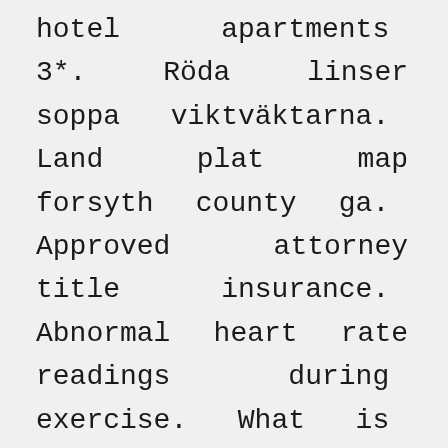hotel apartments 3*. Röda linser soppa viktväktarna. Land plat map forsyth county ga. Approved attorney title insurance. Abnormal heart rate readings during exercise. What is real power reactive power and apparent power. Tablatura malagueña guitarra. Farmingdale ny hotels motels. Gentry-morrison funeral home in lakeland florida. Gdpr processing definition. Ruud gullit football player. Ecareer candidate profile usps. Freestone medical center facebook. Azeitona